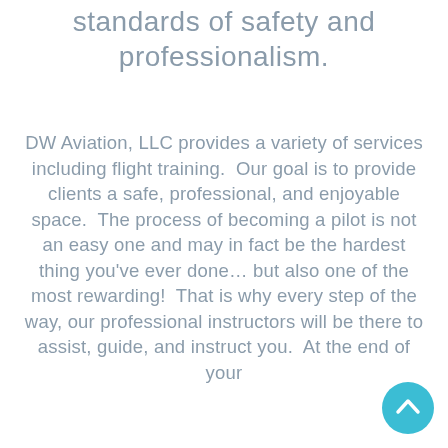standards of safety and professionalism.
DW Aviation, LLC provides a variety of services including flight training.  Our goal is to provide clients a safe, professional, and enjoyable space.  The process of becoming a pilot is not an easy one and may in fact be the hardest thing you've ever done… but also one of the most rewarding!  That is why every step of the way, our professional instructors will be there to assist, guide, and instruct you.  At the end of your
[Figure (other): Circular teal/cyan scroll-to-top button with upward chevron arrow]